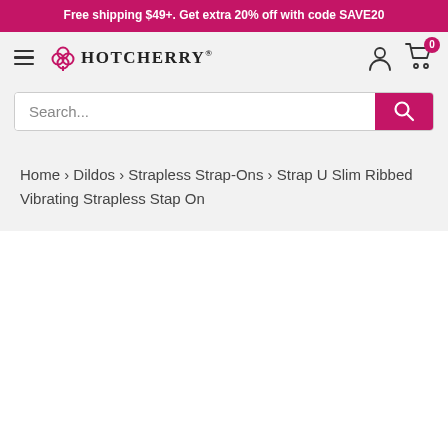Free shipping $49+. Get extra 20% off with code SAVE20
[Figure (logo): HotCherry logo with clover icon and registered trademark]
Search...
Home › Dildos › Strapless Strap-Ons › Strap U Slim Ribbed Vibrating Strapless Stap On